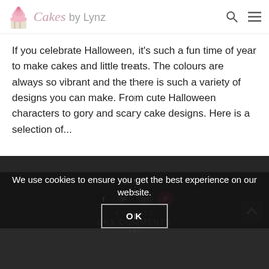Cakes by Lynz
If you celebrate Halloween, it's such a fun time of year to make cakes and little treats. The colours are always so vibrant and the there is such a variety of designs you can make. From cute Halloween characters to gory and scary cake designs. Here is a selection of...
VIEW the POST
Share
We use cookies to ensure you get the best experience on our website.
OK
BY LYNZS
CKS COMMENTS